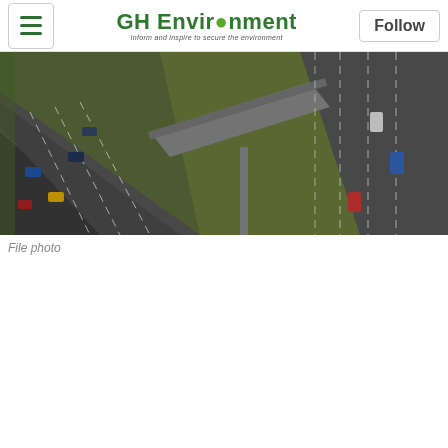GH Environment — Inform and inspire to secure the environment
[Figure (photo): Aerial view of a highway interchange with multiple lanes of traffic, green median areas, and an overpass bridge. Vehicles including cars and trucks visible on the roads.]
File photo